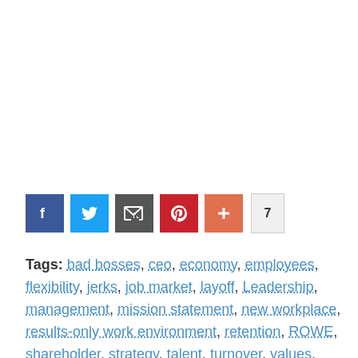[Figure (other): Social sharing buttons: Facebook (blue), Twitter (light blue), Email (dark gray), Pinterest (red), More/Plus (orange-red), and a count badge showing 7]
Tags: bad bosses, ceo, economy, employees, flexibility, jerks, job market, layoff, Leadership, management, mission statement, new workplace, results-only work environment, retention, ROWE, shareholder, strategy, talent, turnover, values, vision